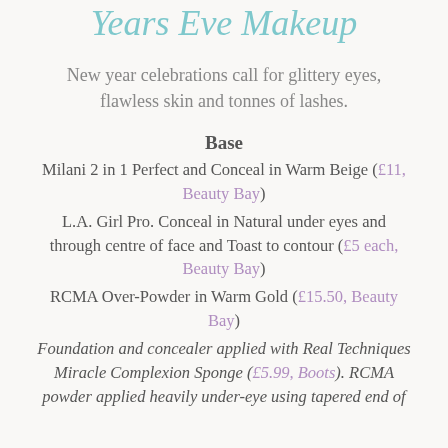Years Eve Makeup
New year celebrations call for glittery eyes, flawless skin and tonnes of lashes.
Base
Milani 2 in 1 Perfect and Conceal in Warm Beige (£11, Beauty Bay)
L.A. Girl Pro. Conceal in Natural under eyes and through centre of face and Toast to contour (£5 each, Beauty Bay)
RCMA Over-Powder in Warm Gold (£15.50, Beauty Bay)
Foundation and concealer applied with Real Techniques Miracle Complexion Sponge (£5.99, Boots). RCMA powder applied heavily under-eye using tapered end of